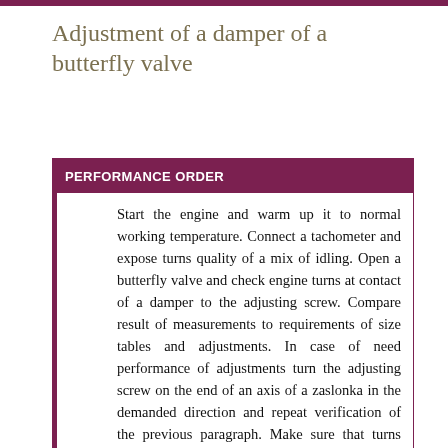Adjustment of a damper of a butterfly valve
PERFORMANCE ORDER
Start the engine and warm up it to normal working temperature. Connect a tachometer and expose turns quality of a mix of idling. Open a butterfly valve and check engine turns at contact of a damper to the adjusting screw. Compare result of measurements to requirements of size tables and adjustments. In case of need performance of adjustments turn the adjusting screw on the end of an axis of a zaslonka in the demanded direction and repeat verification of the previous paragraph. Make sure that turns smoothly fall from 2 000 to 1 000 in a minute approximately in three seconds.